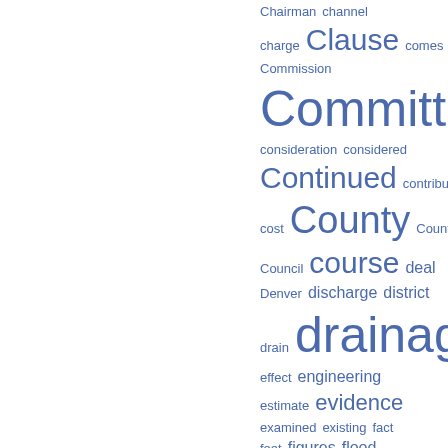[Figure (infographic): Word cloud of government/legal terms including drainage, Committee, County, course, going, Continued, Clause, etc. displayed in varying font sizes in blue on white background, arranged in the right half of the page.]